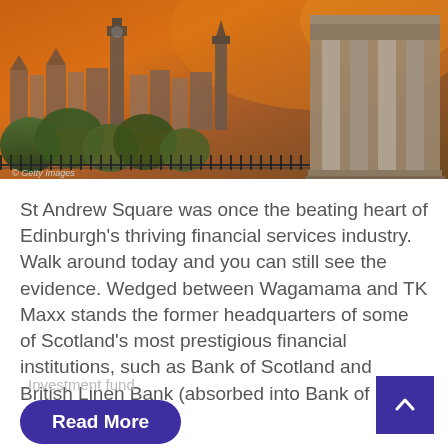[Figure (photo): Aerial/elevated view of Edinburgh cityscape at dusk/sunset with orange sky, historic buildings including towers and columns, trees in foreground. © Getty Images watermark.]
St Andrew Square was once the beating heart of Edinburgh's thriving financial services industry. Walk around today and you can still see the evidence. Wedged between Wagamama and TK Maxx stands the former headquarters of some of Scotland's most prestigious financial institutions, such as Bank of Scotland and British Linen Bank (absorbed into Bank of [...]
Investment fund
Read More